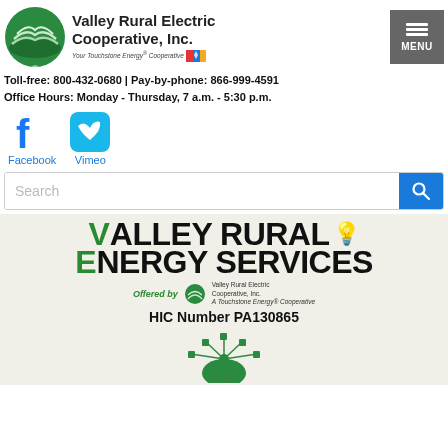[Figure (logo): Valley Rural Electric Cooperative, Inc. logo with green circle emblem and Touchstone Energy Cooperative tagline, plus menu button]
Toll-free: 800-432-0680 | Pay-by-phone: 866-999-4591
Office Hours: Monday - Thursday, 7 a.m. - 5:30 p.m.
[Figure (illustration): Facebook and Vimeo social media icons with labels]
[Figure (screenshot): Search bar with blue search button]
[Figure (logo): Valley Rural Energy Services banner with green V and lightning bolt, Offered by Valley Rural Electric Cooperative logo, HIC Number PA130865]
[Figure (logo): SmartHub logo partially visible at bottom]